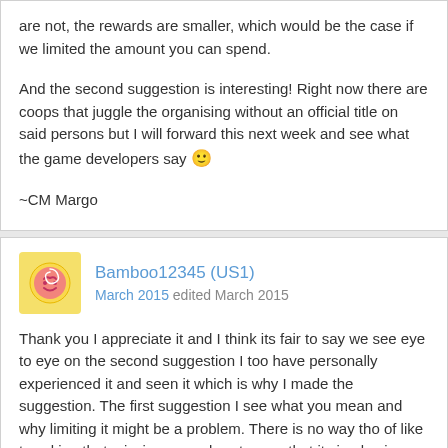are not, the rewards are smaller, which would be the case if we limited the amount you can spend.

And the second suggestion is interesting! Right now there are coops that juggle the organising without an official title on said persons but I will forward this next week and see what the game developers say 🙂

~CM Margo
Bamboo12345 (US1)
March 2015 edited March 2015
Thank you I appreciate it and I think its fair to say we see eye to eye on the second suggestion I too have personally experienced it and seen it which is why I made the suggestion. The first suggestion I see what you mean and why limiting it might be a problem. There is no way tho of like tweaking that mission reward system so that it simply gives you good rewards with or without gold being used. I mean its not like gold is used just in missions here. We use it on houses, expansions, skipping, water tower, workshop, dog house